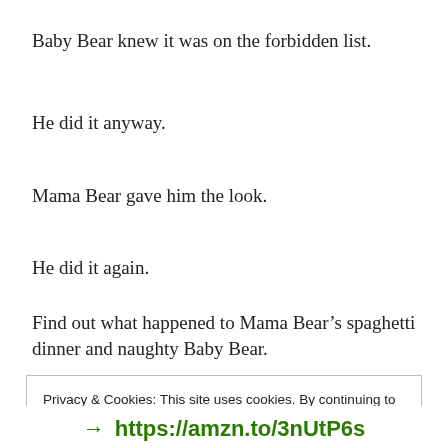Baby Bear knew it was on the forbidden list.
He did it anyway.
Mama Bear gave him the look.
He did it again.
Find out what happened to Mama Bear’s spaghetti dinner and naughty Baby Bear.
Privacy & Cookies: This site uses cookies. By continuing to use this website, you agree to their use.
To find out more, including how to control cookies, see here: Cookie Policy
Close and accept
→ https://amzn.to/3nUtP6s